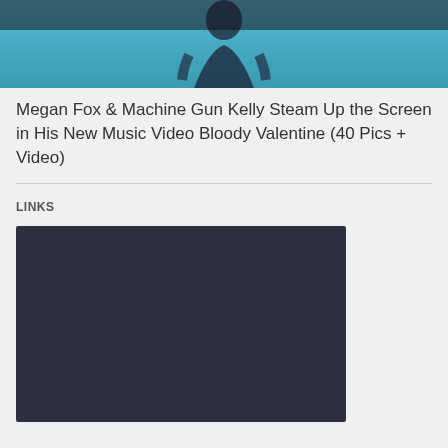[Figure (photo): Partial photo of a woman in a dark bikini top against a teal/blue background, cropped at the top]
Megan Fox & Machine Gun Kelly Steam Up the Screen in His New Music Video Bloody Valentine (40 Pics + Video)
LINKS
[Figure (screenshot): Dark charcoal/dark navy rectangle representing a video embed or screenshot placeholder]